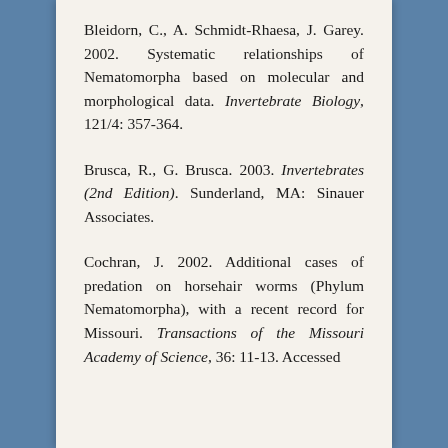Bleidorn, C., A. Schmidt-Rhaesa, J. Garey. 2002. Systematic relationships of Nematomorpha based on molecular and morphological data. Invertebrate Biology, 121/4: 357-364.
Brusca, R., G. Brusca. 2003. Invertebrates (2nd Edition). Sunderland, MA: Sinauer Associates.
Cochran, J. 2002. Additional cases of predation on horsehair worms (Phylum Nematomorpha), with a recent record for Missouri. Transactions of the Missouri Academy of Science, 36: 11-13. Accessed